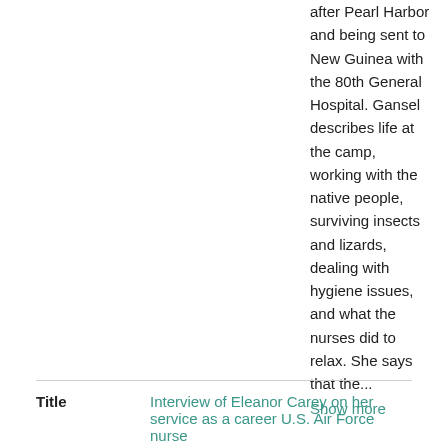after Pearl Harbor and being sent to New Guinea with the 80th General Hospital. Gansel describes life at the camp, working with the native people, surviving insects and lizards, dealing with hygiene issues, and what the nurses did to relax. She says that the... Show more
| Field | Value |
| --- | --- |
| Title | Interview of Eleanor Carey on her service as a career U.S. Air Force nurse |
| Creator | Carey, Eleanor M. (Eleanor Margaret), 1928-2013 |
| Date | 2003-10-22 |
| Collection | Women's Overseas Service League Oral History Project |
| Description | Eleanor Carey talks about her service as a career U.S. Air Force nurse beginning in 1955. Carey says that after her basic |